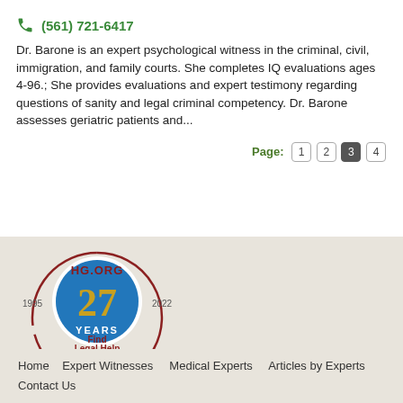(561) 721-6417
Dr. Barone is an expert psychological witness in the criminal, civil, immigration, and family courts. She completes IQ evaluations ages 4-96.; She provides evaluations and expert testimony regarding questions of sanity and legal criminal competency. Dr. Barone assesses geriatric patients and...
Page: 1 2 3 4
[Figure (logo): HG.ORG 27 YEARS logo, 1995-2022, Find Legal Help]
Home   Expert Witnesses   Medical Experts   Articles by Experts   Contact Us